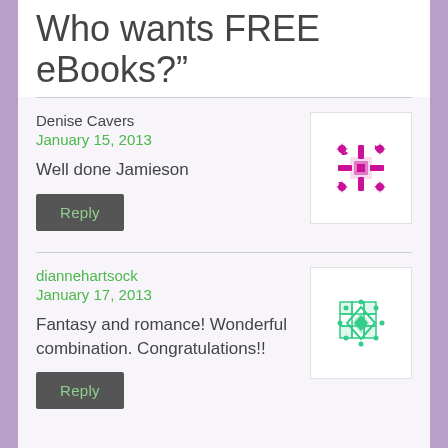Who wants FREE eBooks?"
Denise Cavers
January 15, 2013
[Figure (illustration): Magenta/pink decorative avatar icon with snowflake-like geometric pattern]
Well done Jamieson
Reply
diannehartsock
January 17, 2013
[Figure (illustration): Green decorative avatar icon with diamond/quilt geometric pattern]
Fantasy and romance! Wonderful combination. Congratulations!!
Reply